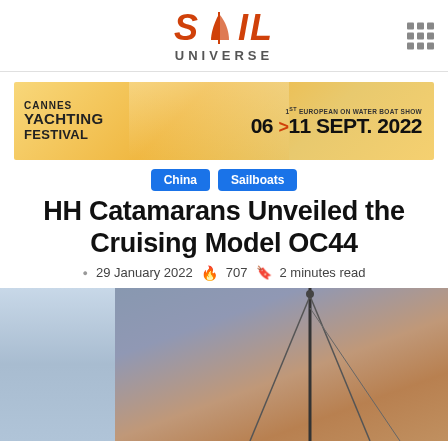SAIL UNIVERSE
[Figure (illustration): Cannes Yachting Festival banner ad: '1st European On Water Boat Show, 06>11 SEPT. 2022']
China
Sailboats
HH Catamarans Unveiled the Cruising Model OC44
· 29 January 2022  🔥 707  🔖 2 minutes read
[Figure (photo): Hero photo of a catamaran at sea with mast and rigging visible against a warm sky]